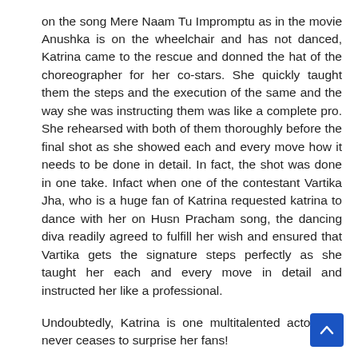on the song Mere Naam Tu Impromptu as in the movie Anushka is on the wheelchair and has not danced, Katrina came to the rescue and donned the hat of the choreographer for her co-stars. She quickly taught them the steps and the execution of the same and the way she was instructing them was like a complete pro. She rehearsed with both of them thoroughly before the final shot as she showed each and every move how it needs to be done in detail. In fact, the shot was done in one take. Infact when one of the contestant Vartika Jha, who is a huge fan of Katrina requested katrina to dance with her on Husn Pracham song, the dancing diva readily agreed to fulfill her wish and ensured that Vartika gets the signature steps perfectly as she taught her each and every move in detail and instructed her like a professional.
Undoubtedly, Katrina is one multitalented actor and never ceases to surprise her fans!